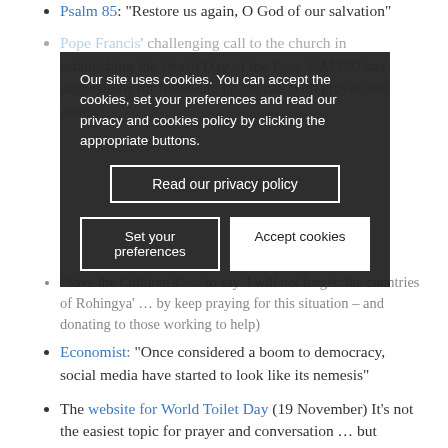Psalm 85: “Restore us again, O God of our salvation”
Pope Francis’ challenging call to the church in establishing the World Day of the Poor. CAFOD has suggestions for following up his call with prayer and action.
Our site uses cookies. You can accept the cookies, set your preferences and read our privacy and cookies policy by clicking the appropriate buttons.
Read our privacy policy
Set your preferences
Accept cookies
“Save the Children’s” … to say ‘I will not forget: the countries of Rohingya’ … by keep praying for this situation – and donating to those working to help)
Economist: “Once considered a boom to democracy, social media have started to look like its nemesis”
The website for World Toilet Day (19 November) It’s not the easiest topic for prayer and conversation … but sanitation is vital.